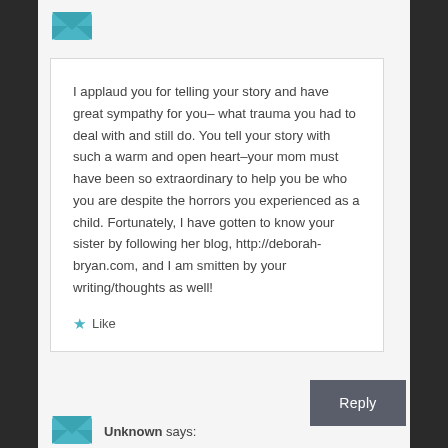[Figure (illustration): Teal envelope/avatar icon at top]
I applaud you for telling your story and have great sympathy for you– what trauma you had to deal with and still do. You tell your story with such a warm and open heart–your mom must have been so extraordinary to help you be who you are despite the horrors you experienced as a child. Fortunately, I have gotten to know your sister by following her blog, http://deborah-bryan.com, and I am smitten by your writing/thoughts as well!
Like
Reply
[Figure (illustration): Teal envelope/avatar icon at bottom]
Unknown says: